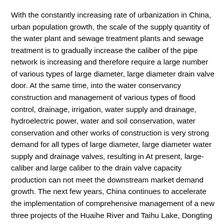With the constantly increasing rate of urbanization in China, urban population growth, the scale of the supply quantity of the water plant and sewage treatment plants and sewage treatment is to gradually increase the caliber of the pipe network is increasing and therefore require a large number of various types of large diameter, large diameter drain valve door. At the same time, into the water conservancy construction and management of various types of flood control, drainage, irrigation, water supply and drainage, hydroelectric power, water and soil conservation, water conservation and other works of construction is very strong demand for all types of large diameter, large diameter water supply and drainage valves, resulting in At present, large-caliber and large caliber to the drain valve capacity production can not meet the downstream market demand growth. The next few years, China continues to accelerate the implementation of comprehensive management of a new three projects of the Huaihe River and Taihu Lake, Dongting Lake, Poyang Lake, and promote key sections governance of Ningxia and Inner Mongolia reaches of the Yellow River, Yangtze River middle and lower reaches of the river regime control major rivers, "South Water Transfer to North" project of the century the launching of the project will continue to boost the scale